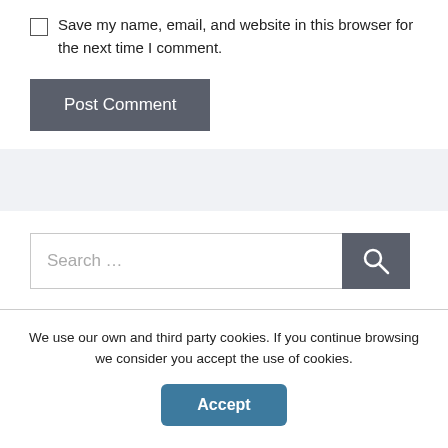Save my name, email, and website in this browser for the next time I comment.
[Figure (screenshot): Post Comment button — dark grey rectangle with white text]
[Figure (screenshot): Search input field with placeholder 'Search ...' and dark grey search button with magnifying glass icon]
We use our own and third party cookies. If you continue browsing we consider you accept the use of cookies.
[Figure (screenshot): Accept button — teal/blue rounded rectangle with white bold text 'Accept']